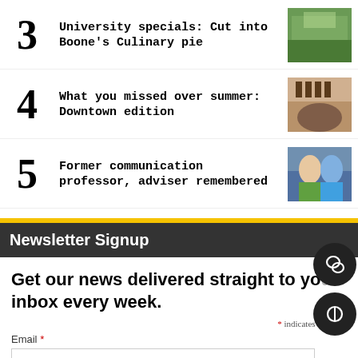3 University specials: Cut into Boone's Culinary pie
4 What you missed over summer: Downtown edition
5 Former communication professor, adviser remembered
Newsletter Signup
Get our news delivered straight to your inbox every week.
* indicates required
Email *